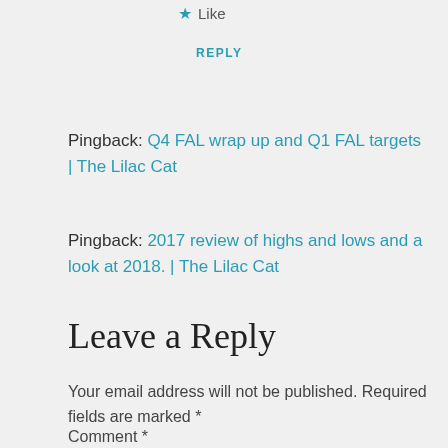★ Like
REPLY
Pingback: Q4 FAL wrap up and Q1 FAL targets | The Lilac Cat
Pingback: 2017 review of highs and lows and a look at 2018. | The Lilac Cat
Leave a Reply
Your email address will not be published. Required fields are marked *
Comment *